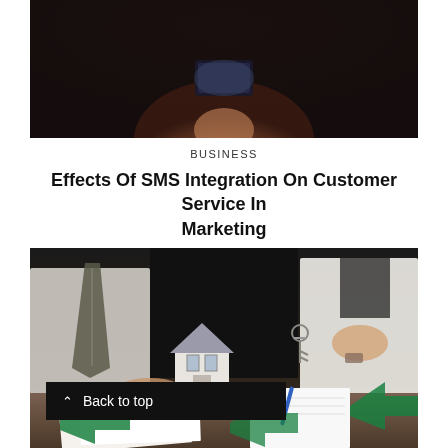[Figure (photo): Person holding a smartphone, dark moody background with brown/reddish tones]
BUSINESS
Effects Of SMS Integration On Customer Service In Marketing
[Figure (photo): Two business people at a desk — one holding a small model house, the other holding keys, with documents and a notepad on the table. Real estate transaction scene.]
Back to top